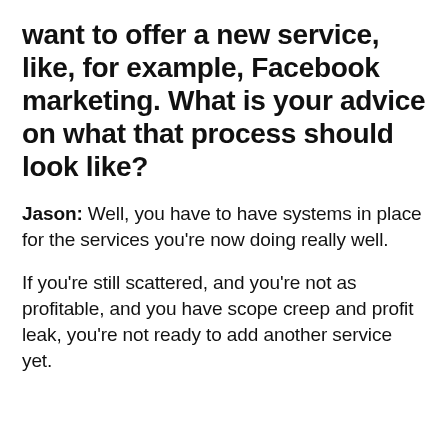want to offer a new service, like, for example, Facebook marketing. What is your advice on what that process should look like?
Jason: Well, you have to have systems in place for the services you're now doing really well.
If you're still scattered, and you're not as profitable, and you have scope creep and profit leak, you're not ready to add another service yet.